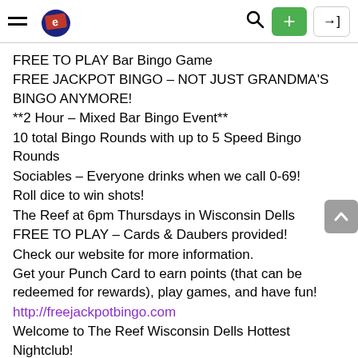Navigation bar with hamburger menu, logo, search icon, plus button, and login button
FREE TO PLAY Bar Bingo Game
FREE JACKPOT BINGO – NOT JUST GRANDMA'S BINGO ANYMORE!
**2 Hour – Mixed Bar Bingo Event**
10 total Bingo Rounds with up to 5 Speed Bingo Rounds
Sociables – Everyone drinks when we call 0-69!
Roll dice to win shots!
The Reef at 6pm Thursdays in Wisconsin Dells
FREE TO PLAY – Cards & Daubers provided!
Check our website for more information.
Get your Punch Card to earn points (that can be redeemed for rewards), play games, and have fun!
http://freejackpotbingo.com
Welcome to The Reef Wisconsin Dells Hottest Nightclub!